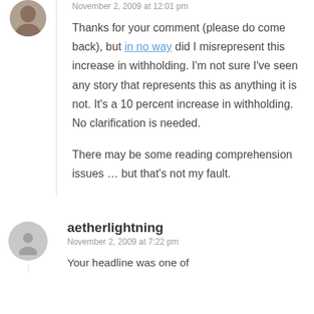November 2, 2009 at 12:01 pm
Thanks for your comment (please do come back), but in no way did I misrepresent this increase in withholding. I'm not sure I've seen any story that represents this as anything it is not. It's a 10 percent increase in withholding. No clarification is needed.

There may be some reading comprehension issues … but that's not my fault.
aetherlightning
November 2, 2009 at 7:22 pm
Your headline was one of